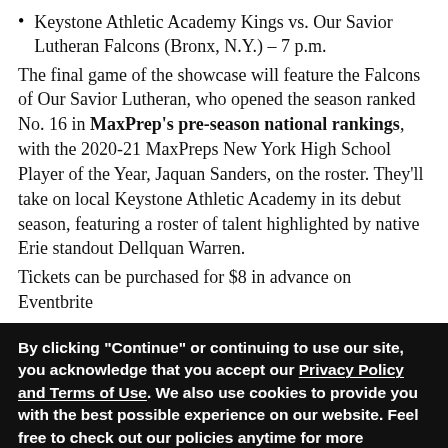Keystone Athletic Academy Kings vs. Our Savior Lutheran Falcons (Bronx, N.Y.) – 7 p.m.
The final game of the showcase will feature the Falcons of Our Savior Lutheran, who opened the season ranked No. 16 in MaxPrep's pre-season national rankings, with the 2020-21 MaxPreps New York High School Player of the Year, Jaquan Sanders, on the roster. They'll take on local Keystone Athletic Academy in its debut season, featuring a roster of talent highlighted by native Erie standout Dellquan Warren.
Tickets can be purchased for $8 in advance on Eventbrite
By clicking "Continue" or continuing to use our site, you acknowledge that you accept our Privacy Policy and Terms of Use. We also use cookies to provide you with the best possible experience on our website. Feel free to check out our policies anytime for more information.
Continue